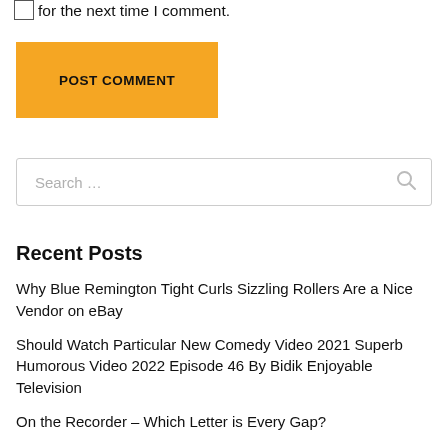for the next time I comment.
POST COMMENT
Search …
Recent Posts
Why Blue Remington Tight Curls Sizzling Rollers Are a Nice Vendor on eBay
Should Watch Particular New Comedy Video 2021 Superb Humorous Video 2022 Episode 46 By Bidik Enjoyable Television
On the Recorder – Which Letter is Every Gap?
Amazon, The Greatest Rainforest within the World I